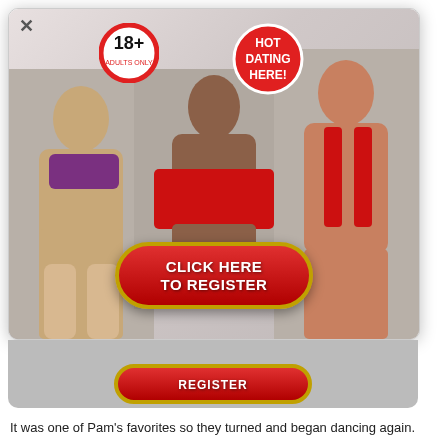[Figure (photo): Adult dating advertisement popup with three women in swimwear/lingerie, an 18+ Adults Only badge, a 'HOT DATING HERE!' badge, and a red 'CLICK HERE TO REGISTER' button]
It was one of Pam's favorites so they turned and began dancing again.